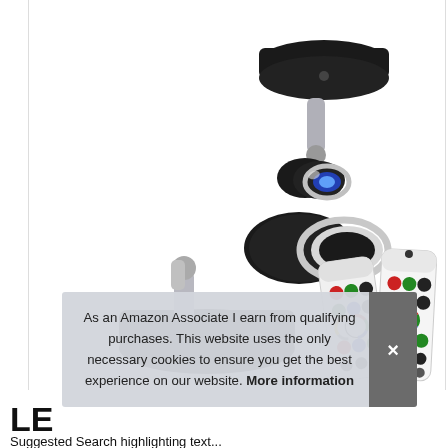[Figure (photo): Product photo showing black LED spotlight fixtures with remote controls. Two spotlights shown: one ceiling-mounted with blue LED illumination (top right), and one desk/table version (bottom left). Two remote controls shown (bottom right) with colorful buttons including red, green, blue, and other colored buttons.]
As an Amazon Associate I earn from qualifying purchases. This website uses the only necessary cookies to ensure you get the best experience on our website. More information
LE
Suggested Search highlighting text...